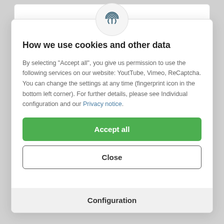[Figure (logo): Fingerprint icon in circular badge at top center of modal]
How we use cookies and other data
By selecting "Accept all", you give us permission to use the following services on our website: YoutTube, Vimeo, ReCaptcha. You can change the settings at any time (fingerprint icon in the bottom left corner). For further details, please see Individual configuration and our Privacy notice.
Accept all
Close
Configuration